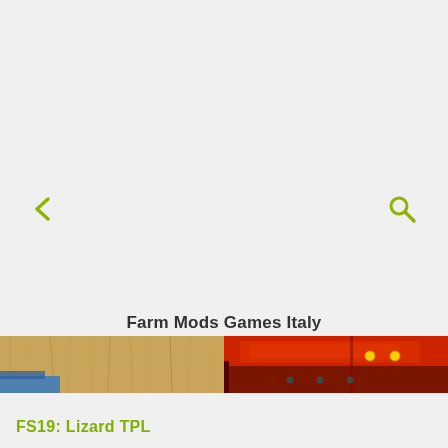[Figure (other): Back arrow navigation icon in olive/yellow-green color on light gray background]
[Figure (other): Search magnifying glass icon in olive/yellow-green color on light gray background]
Farm Mods Games Italy
[Figure (photo): Thumbnail strip showing farm/agricultural machinery — left side shows grain/hay colored surface, right side shows red farm equipment with yellow warning lights]
FS19: Lizard TPL